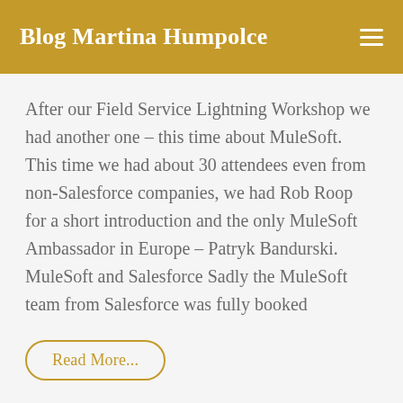Blog Martina Humpolce
After our Field Service Lightning Workshop we had another one – this time about MuleSoft. This time we had about 30 attendees even from non-Salesforce companies, we had Rob Roop for a short introduction and the only MuleSoft Ambassador in Europe – Patryk Bandurski. MuleSoft and Salesforce Sadly the MuleSoft team from Salesforce was fully booked
Read More...